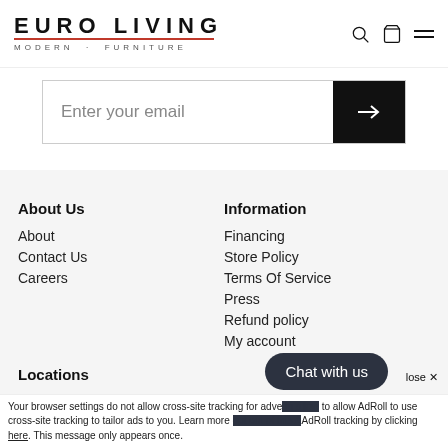[Figure (logo): Euro Living Modern Furniture logo with red underline]
Enter your email
About Us
About
Contact Us
Careers
Information
Financing
Store Policy
Terms Of Service
Press
Refund policy
My account
Locations
Orlando, FL
Chat with us
Your browser settings do not allow cross-site tracking for advertising. Visit your browser settings to allow AdRoll to use cross-site tracking to tailor ads to you. Learn more or opt out of this AdRoll tracking by clicking here. This message only appears once.